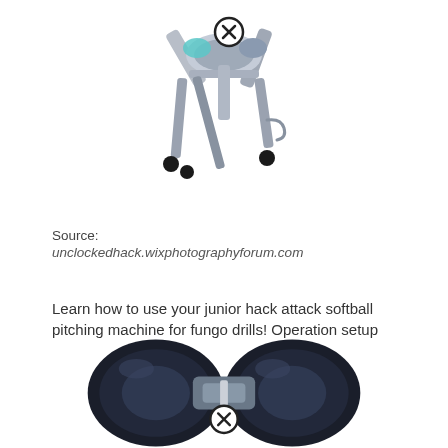[Figure (photo): A softball pitching machine (junior hack attack) shown from the side on a white background, with a circular close-up/X marker overlaid near the feed mechanism at the top. The machine has a metal frame with multiple legs and black feet.]
Source:
unclockedhack.wixphotographyforum.com
Learn how to use your junior hack attack softball pitching machine for fungo drills! Operation setup use & care service hack attack softball pitching machines sportsattack sportsatt ack ltd.
[Figure (photo): A close-up photo of the top portion of a softball pitching machine showing the dual-wheel mechanism, with a circular X marker overlaid on the center. The wheels appear dark/black and the body is metallic blue.]